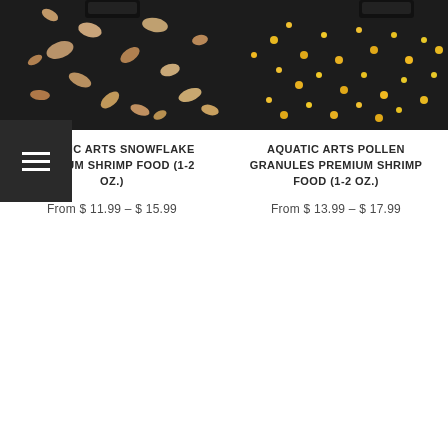[Figure (photo): Product photo of Aquatic Arts Snowflake Premium Shrimp Food showing brown pellets scattered on dark background]
AQUATIC ARTS SNOWFLAKE PREMIUM SHRIMP FOOD (1-2 OZ.)
From $ 11.99 - $ 15.99
[Figure (photo): Product photo of Aquatic Arts Pollen Granules Premium Shrimp Food showing yellow granules scattered on dark background]
AQUATIC ARTS POLLEN GRANULES PREMIUM SHRIMP FOOD (1-2 OZ.)
From $ 13.99 - $ 17.99